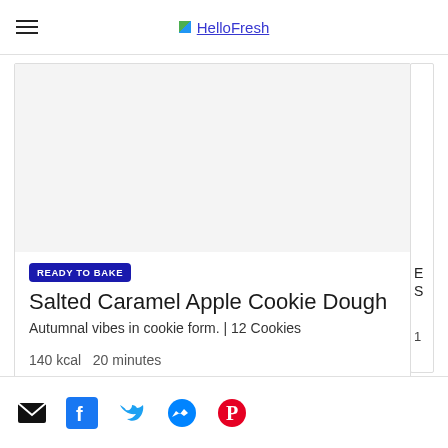HelloFresh
[Figure (photo): HelloFresh recipe image area for Salted Caramel Apple Cookie Dough (image not loaded)]
READY TO BAKE
Salted Caramel Apple Cookie Dough
Autumnal vibes in cookie form. | 12 Cookies
140 kcal   20 minutes
[Figure (infographic): Social share icons: email, Facebook, Twitter, Messenger, Pinterest]